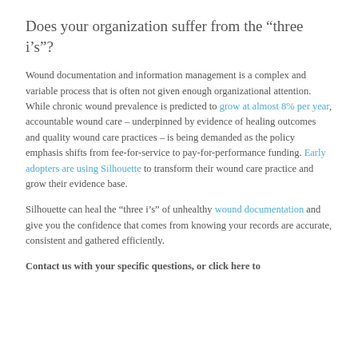Does your organization suffer from the “three i’s”?
Wound documentation and information management is a complex and variable process that is often not given enough organizational attention. While chronic wound prevalence is predicted to grow at almost 8% per year, accountable wound care – underpinned by evidence of healing outcomes and quality wound care practices – is being demanded as the policy emphasis shifts from fee-for-service to pay-for-performance funding. Early adopters are using Silhouette to transform their wound care practice and grow their evidence base.
Silhouette can heal the “three i’s” of unhealthy wound documentation and give you the confidence that comes from knowing your records are accurate, consistent and gathered efficiently.
Contact us with your specific questions, or click here to